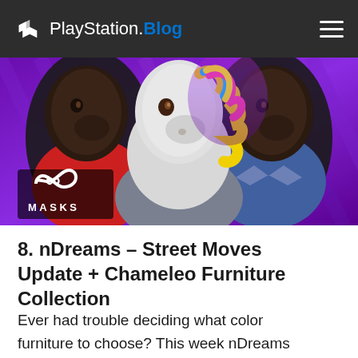PlayStation.Blog
[Figure (illustration): Screenshot from a video game showing three anthropomorphic horse/unicorn figures wearing casual clothing against a purple/violet background. The center figure is a white unicorn with a colorful mane. Left figure is dark-colored wearing a red top. Right figure is dark-colored wearing a blue top. A logo showing an infinity symbol with the word MASKS is visible in the lower left of the image.]
8. nDreams – Street Moves Update + Chameleo Furniture Collection
Ever had trouble deciding what color furniture to choose? This week nDreams presents The Chameleo furniture range. A unique range of modern furnishings